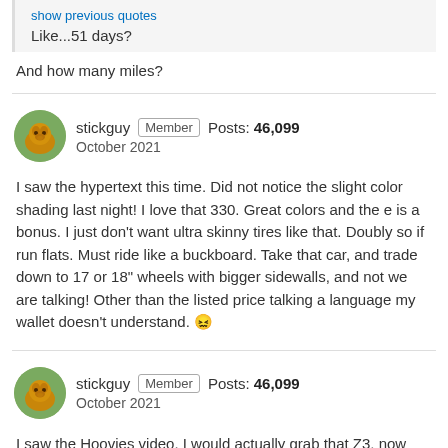show previous quotes
Like...51 days?
And how many miles?
stickguy  Member  Posts: 46,099
October 2021
I saw the hypertext this time. Did not notice the slight color shading last night! I love that 330. Great colors and the e is a bonus. I just don't want ultra skinny tires like that. Doubly so if run flats. Must ride like a buckboard. Take that car, and trade down to 17 or 18" wheels with bigger sidewalls, and not we are talking! Other than the listed price talking a language my wallet doesn't understand. 😖
stickguy  Member  Posts: 46,099
October 2021
I saw the Hoovies video. I would actually grab that Z3, now